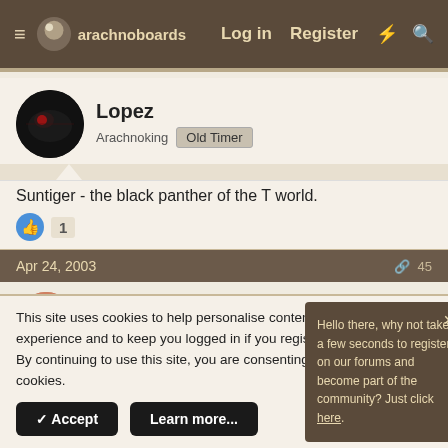arachnoboards  Log in  Register
Lopez
Arachnoking  Old Timer
Suntiger - the black panther of the T world.
1
Apr 24, 2003
conip
Arachn  Princess  Old Timer
Hello there, why not take a few seconds to register on our forums and become part of the community? Just click here.
This site uses cookies to help personalise content, tailor your experience and to keep you logged in if you register.
By continuing to use this site, you are consenting to our use of cookies.
✓ Accept   Learn more...